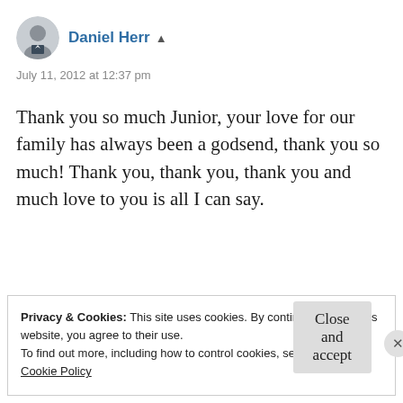[Figure (photo): Circular avatar photo of Daniel Herr, a man in a suit]
Daniel Herr ▲
July 11, 2012 at 12:37 pm
Thank you so much Junior, your love for our family has always been a godsend, thank you so much! Thank you, thank you, thank you and much love to you is all I can say.
Reply
Privacy & Cookies: This site uses cookies. By continuing to use this website, you agree to their use.
To find out more, including how to control cookies, see here:
Cookie Policy
Close and accept